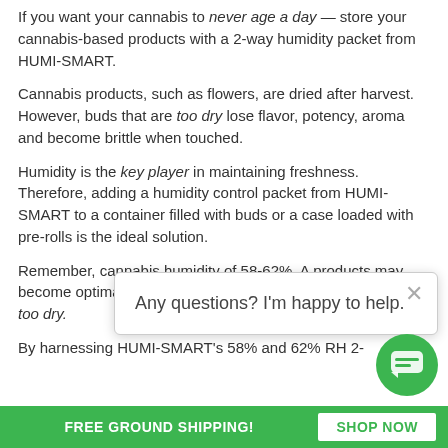If you want your cannabis to never age a day — store your cannabis-based products with a 2-way humidity packet from HUMI-SMART.
Cannabis products, such as flowers, are dried after harvest. However, buds that are too dry lose flavor, potency, aroma and become brittle when touched.
Humidity is the key player in maintaining freshness. Therefore, adding a humidity control packet from HUMI-SMART to a container filled with buds or a case loaded with pre-rolls is the ideal solution.
Remember, cannabis humidity of 58-62%. A products may become optimal range and cannabis products may become too dry.
Any questions? I'm happy to help.
By harnessing HUMI-SMART's 58% and 62% RH 2-
FREE GROUND SHIPPING!   SHOP NOW